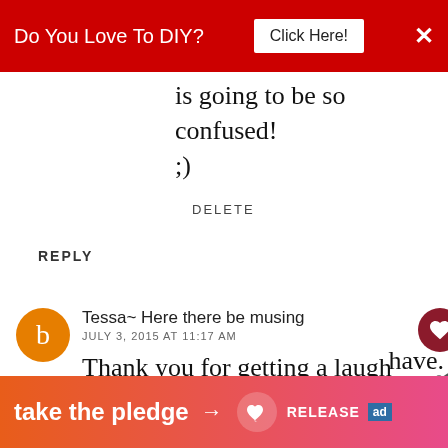Do You Love To DIY? [Click Here!] ×
is going to be so confused! ;)
DELETE
REPLY
Tessa~ Here there be musing
JULY 3, 2015 AT 11:17 AM
Thank you for getting a laugh out my "frozen slugs" comment in Kim's post. -gigggles-
[Figure (infographic): What's Next box showing a thumbnail and text: When And Why Do You...]
take the pledge → RELEASE ad have. ℳ°